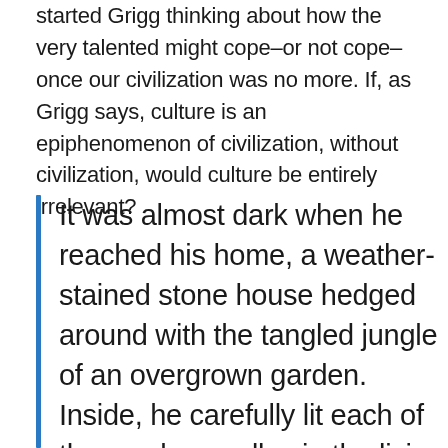started Grigg thinking about how the very talented might cope–or not cope–once our civilization was no more. If, as Grigg says, culture is an epiphenomenon of civilization, without civilization, would culture be entirely irrelevant?
It was almost dark when he reached his home, a weather-stained stone house hedged around with the tangled jungle of an overgrown garden. Inside, he carefully lit each of the smoky candles in the living room, calling up a cancerous light that spread relentlessly into the corners. His door was locked and barred, and at